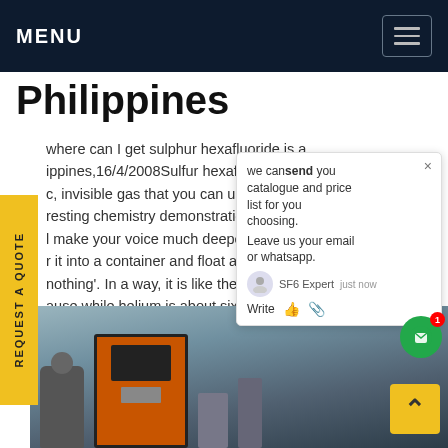MENU
Philippines
where can I get sulphur hexafluoride is a ippines,16/4/2008Sulfur hexafluoride is a non-c, invisible gas that you can use t resting chemistry demonstration t in l make your voice much deeper v lk r it into a container and float an a ship nothing'. In a way, it is like the it s, ause while helium is about six times lighter than et price
[Figure (screenshot): Chat popup overlay with text: we can send you catalogue and price list for you choosing. Leave us your email or whatsapp. SF6 Expert just now. Write with icons.]
[Figure (photo): Industrial scene showing machinery including an orange/red machine with workers in a warehouse or factory setting.]